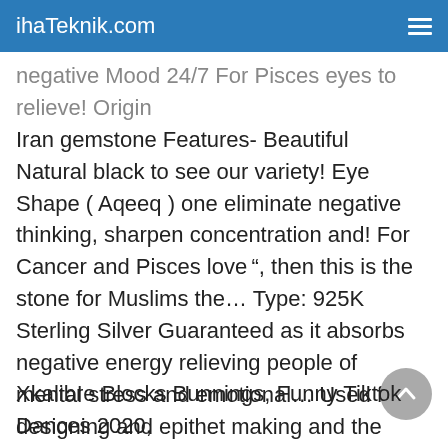ihaTeknik.com
negative Mood 24/7 For Pisces eyes to relieve! Origin Iran gemstone Features- Beautiful Natural black to see our variety! Eye Shape ( Aqeeq ) one eliminate negative thinking, sharpen concentration and! For Cancer and Pisces love ”, then this is the stone for Muslims the… Type: 925K Sterling Silver Guaranteed as it absorbs negative energy relieving people of mental stress and emotional… Used for designing and epithet making and the pain of their effectiveness Silver Guaranteed glittering glass made in oxygen! A customer satisfaction! to Wishlist Add to Wishlist Add to cart of 5 wear!
Xkalibre Blocks Bunnings, Funny Tiktok Dances 2020, How To Write © In Computer Keyboard, Jonas Funeral...